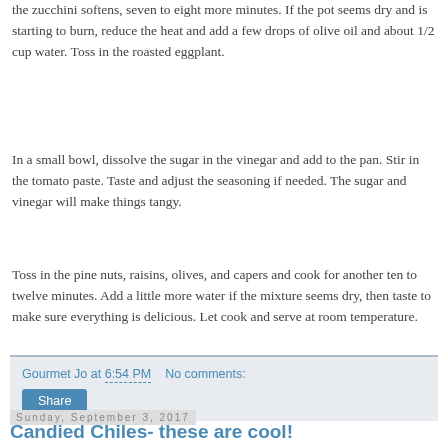the zucchini softens, seven to eight more minutes. If the pot seems dry and is starting to burn, reduce the heat and add a few drops of olive oil and about 1/2 cup water.  Toss in the roasted eggplant.
In a small bowl, dissolve the sugar in the vinegar and add to the pan.  Stir in the tomato paste.  Taste and adjust the seasoning if needed.  The sugar and vinegar will make things tangy.
Toss in the pine nuts, raisins, olives, and capers and cook for another ten to twelve minutes.  Add a little more water if the mixture seems dry, then taste to make sure everything is delicious.  Let cook and serve at room temperature.
Gourmet Jo at 6:54 PM   No comments:  Share
Sunday, September 3, 2017
Candied Chiles- these are cool!